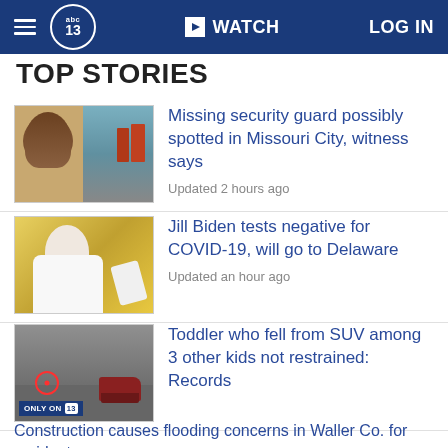abc13 | WATCH | LOG IN
TOP STORIES
[Figure (photo): Thumbnail image of a man's face and a street scene]
Missing security guard possibly spotted in Missouri City, witness says
Updated 2 hours ago
[Figure (photo): Thumbnail image of a woman in white jacket gesturing]
Jill Biden tests negative for COVID-19, will go to Delaware
Updated an hour ago
[Figure (photo): Thumbnail image of a road with a car and a circled object, ONLY ON 13 badge]
Toddler who fell from SUV among 3 other kids not restrained: Records
Construction causes flooding concerns in Waller Co. for residents
Scattered storms continue today, more rain in the forecast next week